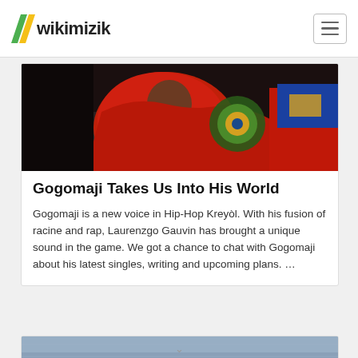wikimizik
[Figure (photo): Person holding or wearing colorful red fabric with a Haitian flag or emblem, dark background]
Gogomaji Takes Us Into His World
Gogomaji is a new voice in Hip-Hop Kreyòl. With his fusion of racine and rap, Laurenzgo Gauvin has brought a unique sound in the game. We got a chance to chat with Gogomaji about his latest singles, writing and upcoming plans. ...
[Figure (photo): Two people partially visible, blue/grey textured background wall]